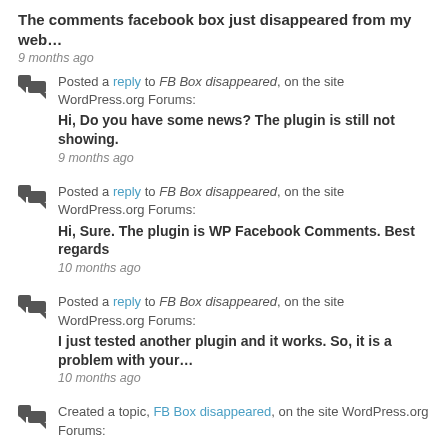The comments facebook box just disappeared from my web…
9 months ago
Posted a reply to FB Box disappeared, on the site WordPress.org Forums:
Hi, Do you have some news? The plugin is still not showing.
9 months ago
Posted a reply to FB Box disappeared, on the site WordPress.org Forums:
Hi, Sure. The plugin is WP Facebook Comments. Best regards
10 months ago
Posted a reply to FB Box disappeared, on the site WordPress.org Forums:
I just tested another plugin and it works. So, it is a problem with your…
10 months ago
Created a topic, FB Box disappeared, on the site WordPress.org Forums: